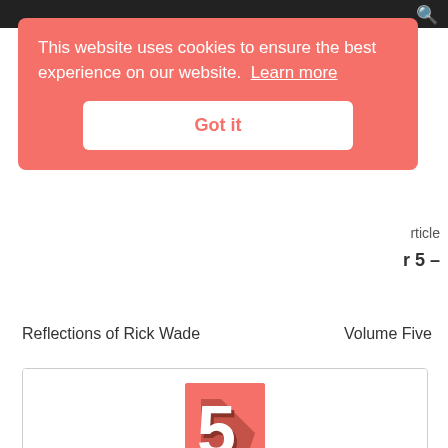This website uses cookies to ensure the best experience on our website.  Learn more
Got it
Reflections of Rick Wade
Volume Five
[Figure (logo): 5 Magazine logo: a coral/salmon colored square with a large white stylized number 5 with a dark shadow.]
5 Magazine
Log In / Sign Up
Chicago, covering Deep House, Soulful House, Techno, Synth,